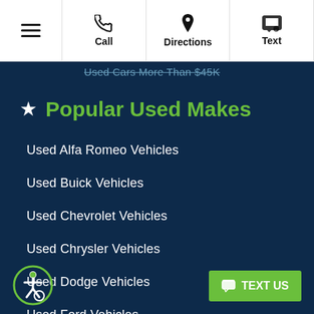≡ Call Directions Text
Used Cars More Than $45K
★ Popular Used Makes
Used Alfa Romeo Vehicles
Used Buick Vehicles
Used Chevrolet Vehicles
Used Chrysler Vehicles
Used Dodge Vehicles
Used Ford Vehicles
Used GMC Vehicles